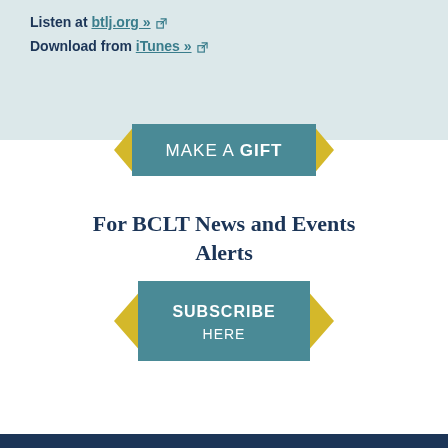Listen at btlj.org » [external link]
Download from iTunes » [external link]
[Figure (infographic): Teal banner button with yellow arrow accents on left and right reading 'MAKE A GIFT' in white text]
For BCLT News and Events Alerts
[Figure (infographic): Teal banner button with yellow arrow accents on left and right reading 'SUBSCRIBE HERE' in white text]